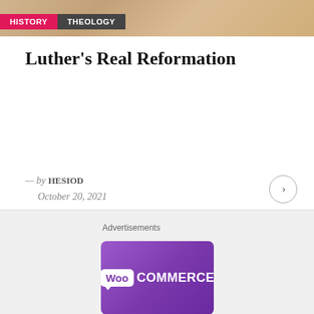HISTORY | THEOLOGY
Luther's Real Reformation
— by HESIOD
October 20, 2021
Advertisements
[Figure (logo): WooCommerce logo on purple gradient background banner]